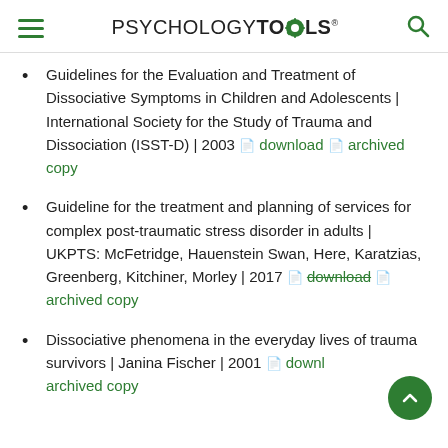PSYCHOLOGYTOOLS
Guidelines for the Evaluation and Treatment of Dissociative Symptoms in Children and Adolescents | International Society for the Study of Trauma and Dissociation (ISST-D) | 2003 [pdf] download [pdf] archived copy
Guideline for the treatment and planning of services for complex post-traumatic stress disorder in adults | UKPTS: McFetridge, Hauenstein Swan, Here, Karatzias, Greenberg, Kitchiner, Morley | 2017 [pdf] download [pdf] archived copy
Dissociative phenomena in the everyday lives of trauma survivors | Janina Fischer | 2001 [pdf] download archived copy